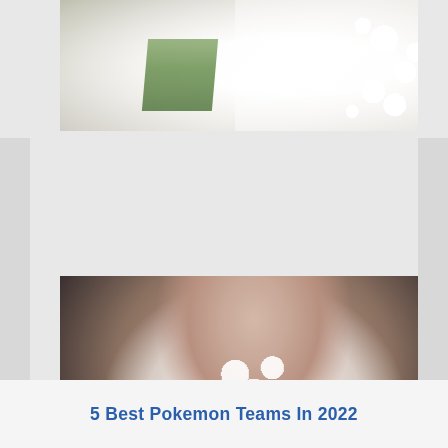[Figure (photo): Close-up photo of a white lace wedding dress detail with a green floral element, top portion of a bridal image]
[Figure (photo): Photo of a bride in a white halter-neck lace wedding dress looking down, holding a white and green floral bouquet]
5 Best Pokemon Teams In 2022